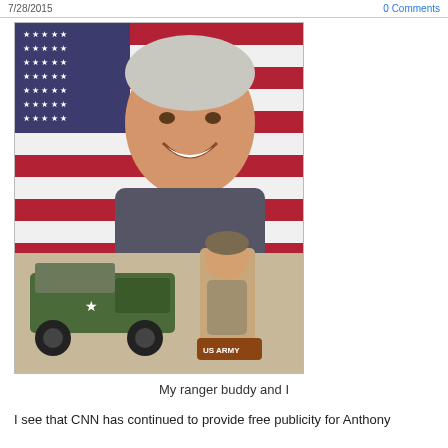7/28/2015   0 Comments
[Figure (photo): A smiling middle-aged man posing in front of an American flag, with a toy military jeep and a US Army Ranger bobblehead figurine in front of him.]
My ranger buddy and I
I see that CNN has continued to provide free publicity for Anthony